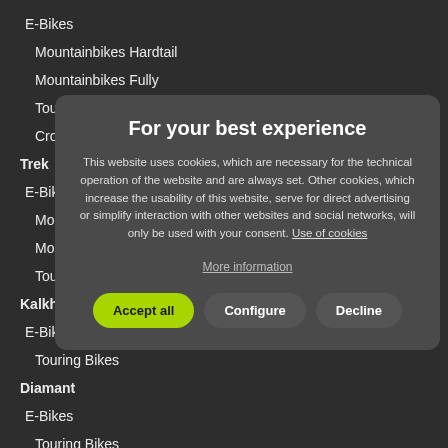E-Bikes
Mountainbikes Hardtail
Mountainbikes Fully
Touring Bikes
Cross- and Fitnessbikes
Trek
E-Bikes
Mountainbikes Hardtail
Mountainbikes Fully
Touring Bikes
Kalkhoff
E-Bikes
Touring Bikes
Diamant
E-Bikes
Touring Bikes
Winora
For your best experience
This website uses cookies, which are necessary for the technical operation of the website and are always set. Other cookies, which increase the usability of this website, serve for direct advertising or simplify interaction with other websites and social networks, will only be used with your consent. Use of cookies
More information
Accept all
Configure
Decline